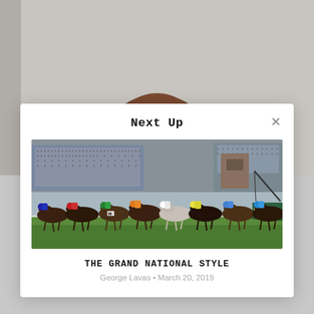[Figure (photo): Background photo showing top of a person's head with brown curly hair against a light grey wall background]
Next Up
[Figure (photo): Horse racing photo showing a large pack of racehorses with jockeys in colorful silks racing on a track with large grandstands packed with spectators in the background]
THE GRAND NATIONAL STYLE
George Lavas • March 20, 2019